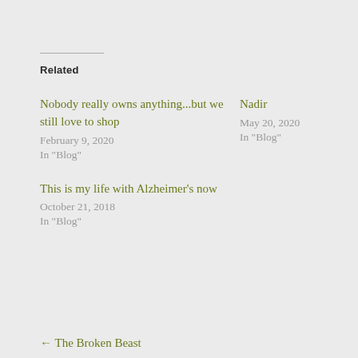Related
Nobody really owns anything...but we still love to shop
February 9, 2020
In "Blog"
Nadir
May 20, 2020
In "Blog"
This is my life with Alzheimer's now
October 21, 2018
In "Blog"
← The Broken Beast